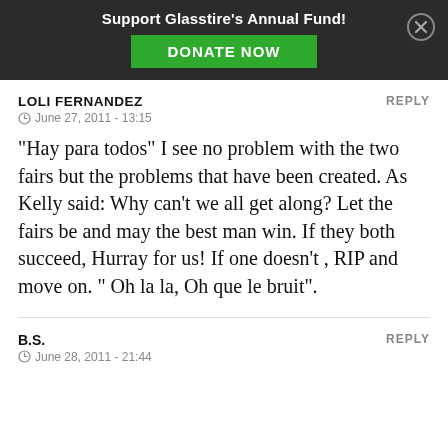Support Glasstire's Annual Fund! DONATE NOW
LOLI FERNANDEZ
June 27, 2011 - 13:15
“Hay para todos” I see no problem with the two fairs but the problems that have been created. As Kelly said: Why can’t we all get along? Let the fairs be and may the best man win. If they both succeed, Hurray for us! If one doesn’t , RIP and move on. ” Oh la la, Oh que le bruit”.
B.S.
June 28, 2011 - 21:44